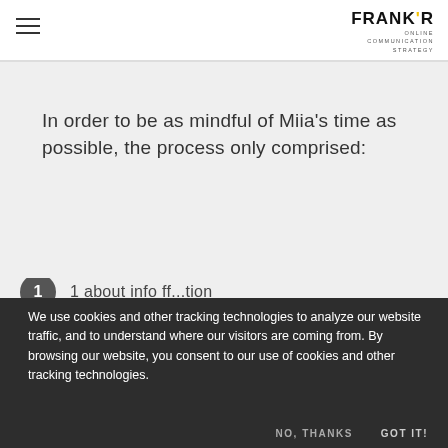FRANK'R ONLINE COMMUNICATION STRATEGY
In order to be as mindful of Miia’s time as possible, the process only comprised:
1 about info ff...tion
We use cookies and other tracking technologies to analyze our website traffic, and to understand where our visitors are coming from. By browsing our website, you consent to our use of cookies and other tracking technologies.
NO, THANKS   GOT IT!